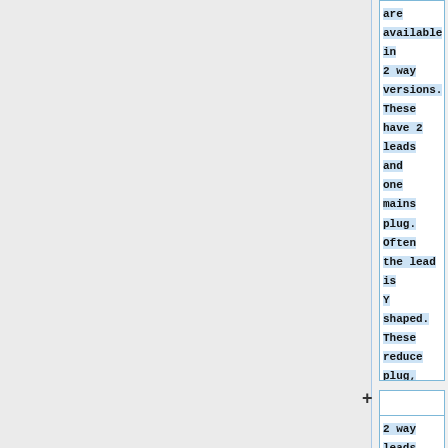are available in 2 way versions. These have 2 leads and one mains plug. Often the lead is Y shaped. These reduce plug, socket, flex and sometimes extension lead use.
2 way leads are only